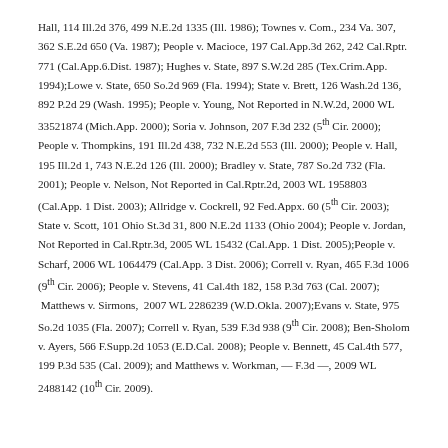Hall, 114 Ill.2d 376, 499 N.E.2d 1335 (Ill. 1986); Townes v. Com., 234 Va. 307, 362 S.E.2d 650 (Va. 1987); People v. Macioce, 197 Cal.App.3d 262, 242 Cal.Rptr. 771 (Cal.App.6.Dist. 1987); Hughes v. State, 897 S.W.2d 285 (Tex.Crim.App. 1994);Lowe v. State, 650 So.2d 969 (Fla. 1994); State v. Brett, 126 Wash.2d 136, 892 P.2d 29 (Wash. 1995); People v. Young, Not Reported in N.W.2d, 2000 WL 33521874 (Mich.App. 2000); Soria v. Johnson, 207 F.3d 232 (5th Cir. 2000); People v. Thompkins, 191 Ill.2d 438, 732 N.E.2d 553 (Ill. 2000); People v. Hall, 195 Ill.2d 1, 743 N.E.2d 126 (Ill. 2000); Bradley v. State, 787 So.2d 732 (Fla. 2001); People v. Nelson, Not Reported in Cal.Rptr.2d, 2003 WL 1958803 (Cal.App. 1 Dist. 2003); Allridge v. Cockrell, 92 Fed.Appx. 60 (5th Cir. 2003); State v. Scott, 101 Ohio St.3d 31, 800 N.E.2d 1133 (Ohio 2004); People v. Jordan, Not Reported in Cal.Rptr.3d, 2005 WL 15432 (Cal.App. 1 Dist. 2005);People v. Scharf, 2006 WL 1064479 (Cal.App. 3 Dist. 2006); Correll v. Ryan, 465 F.3d 1006 (9th Cir. 2006); People v. Stevens, 41 Cal.4th 182, 158 P.3d 763 (Cal. 2007); Matthews v. Sirmons, 2007 WL 2286239 (W.D.Okla. 2007);Evans v. State, 975 So.2d 1035 (Fla. 2007); Correll v. Ryan, 539 F.3d 938 (9th Cir. 2008); Ben-Sholom v. Ayers, 566 F.Supp.2d 1053 (E.D.Cal. 2008); People v. Bennett, 45 Cal.4th 577, 199 P.3d 535 (Cal. 2009); and Matthews v. Workman, — F.3d —, 2009 WL 2488142 (10th Cir. 2009).